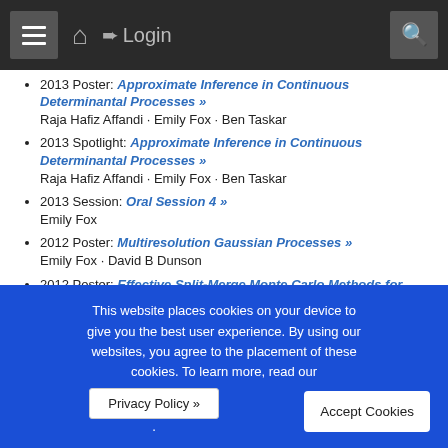≡  🏠  ➨ Login  🔍
2013 Poster: Approximate Inference in Continuous Determinantal Processes »
Raja Hafiz Affandi · Emily Fox · Ben Taskar
2013 Spotlight: Approximate Inference in Continuous Determinantal Processes »
Raja Hafiz Affandi · Emily Fox · Ben Taskar
2013 Session: Oral Session 4 »
Emily Fox
2012 Poster: Multiresolution Gaussian Processes »
Emily Fox · David B Dunson
2012 Poster: Effective Split-Merge Monte Carlo Methods for Nonparametric Models of Sequential Data »
Michael Hughes · Emily Fox · Erik Sudderth
2011 Workshop: Bayesian Nonparametric Methods: Hope
This website places cookies on your device to give you the best user experience. By using our websites, you agree to the placement of these cookies. To learn more, read our Privacy Policy »
Accept Cookies